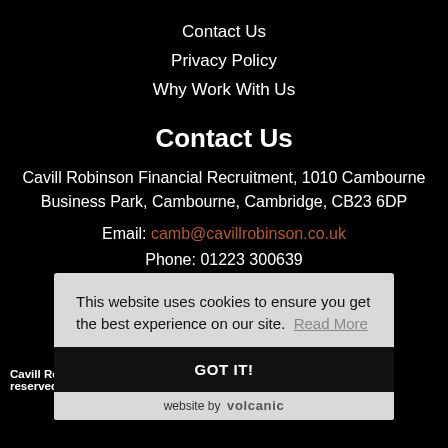Contact Us
Privacy Policy
Why Work With Us
Contact Us
Cavill Robinson Financial Recruitment, 1010 Cambourne Business Park, Cambourne, Cambridge, CB23 6DP
Email: camb@cavillrobinson.co.uk
Phone: 01223 300639
This website uses cookies to ensure you get the best experience on our site.  Read More  GOT IT!
Cavill Robinson Financial Recruitment Limited 2022. All rights reserved.
website by volcanic